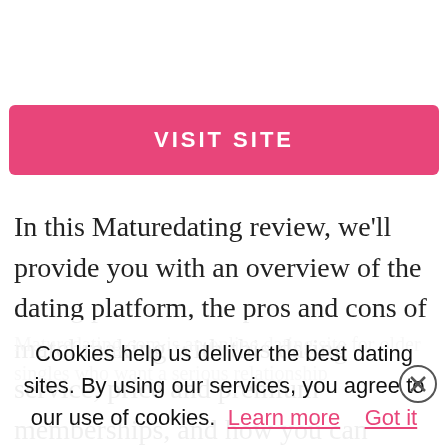[Figure (other): Pink 'VISIT SITE' button]
In this Maturedating review, we'll provide you with an overview of the dating platform, the pros and cons of matchmaking with this dating service, price and premium memberships, and how you can register with Maturedating.
Cookies help us deliver the best dating sites. By using our services, you agree to our use of cookies. Learn more  Got it
Maturedating.com is an online dating site for older singles who want a serious relationship